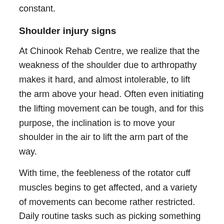constant.
Shoulder injury signs
At Chinook Rehab Centre, we realize that the weakness of the shoulder due to arthropathy makes it hard, and almost intolerable, to lift the arm above your head. Often even initiating the lifting movement can be tough, and for this purpose, the inclination is to move your shoulder in the air to lift the arm part of the way.
With time, the feebleness of the rotator cuff muscles begins to get affected, and a variety of movements can become rather restricted. Daily routine tasks such as picking something up from behind your back, reaching into a cupboard, or washing your hair can become tough, along with shoulder pain.